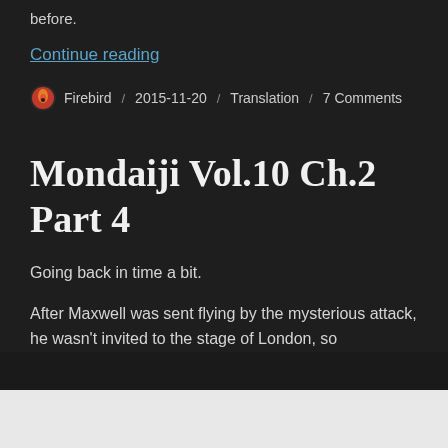before.
Continue reading
Firebird / 2015-11-20 / Translation / 7 Comments
Mondaiji Vol.10 Ch.2 Part 4
Going back in time a bit.
After Maxwell was sent flying by the mysterious attack, he wasn't invited to the stage of London, so